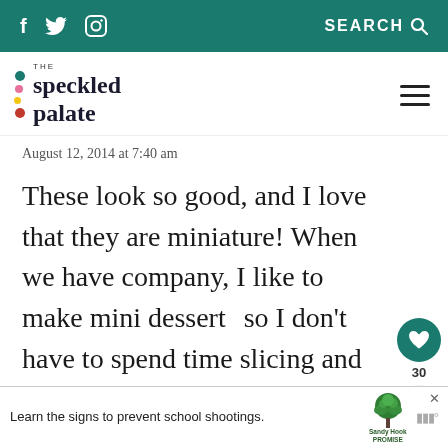Social media icons (f, Twitter, Instagram) | SEARCH
[Figure (logo): The Speckled Palate logo with colorful dots]
August 12, 2014 at 7:40 am
These look so good, and I love that they are miniature! When we have company, I like to make mini desserts so I don't have to spend time slicing and serving. Instead I can just put out a whole tray and let everybody g...
[Figure (infographic): Sandy Hook Promise advertisement: Learn the signs to prevent school shootings.]